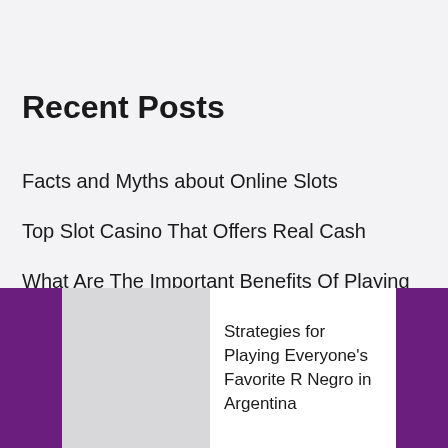Recent Posts
Facts and Myths about Online Slots
Top Slot Casino That Offers Real Cash
What Are The Important Benefits Of Playing The Game Of Blackjack?
A Beginner's Guide to Dragon Tiger  Game
Strategies for Playing Everyone's Favorite R Negro in Argentina